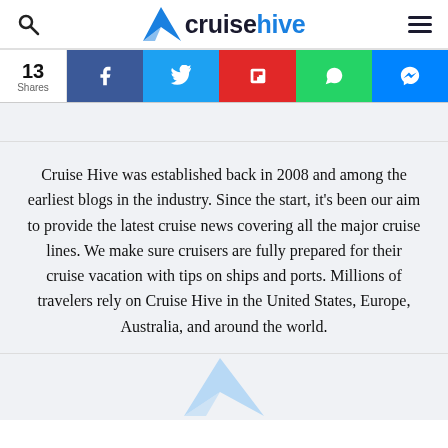cruisehive
[Figure (infographic): Share bar with 13 Shares count and social media buttons: Facebook (blue), Twitter (light blue), Flipboard (red), WhatsApp (green), Messenger (blue)]
Cruise Hive was established back in 2008 and among the earliest blogs in the industry. Since the start, it's been our aim to provide the latest cruise news covering all the major cruise lines. We make sure cruisers are fully prepared for their cruise vacation with tips on ships and ports. Millions of travelers rely on Cruise Hive in the United States, Europe, Australia, and around the world.
[Figure (logo): Partial Cruise Hive logo (bird icon) visible at the bottom of the page]